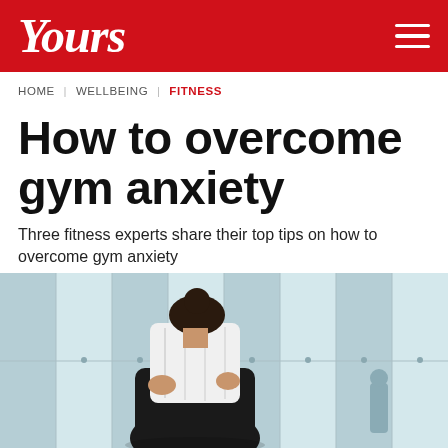Yours
HOME | WELLBEING | FITNESS
How to overcome gym anxiety
Three fitness experts share their top tips on how to overcome gym anxiety
[Figure (photo): A woman in a gym locker room holding a white towel to her face, with blue tiled walls and lockers in the background]